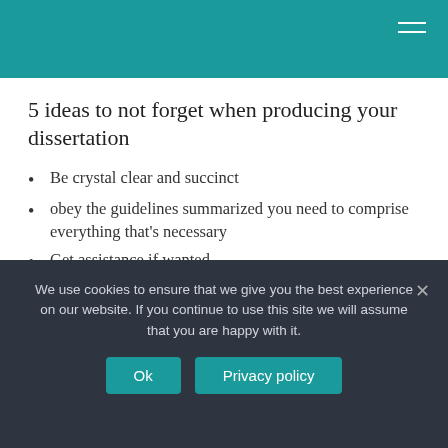5 ideas to not forget when producing your dissertation
Be crystal clear and succinct
obey the guidelines summarized you need to comprise everything that's necessary
Get assistance if wanted
Create a summary before start
Do not hurry through it
We use cookies to ensure that we give you the best experience on our website. If you continue to use this site we will assume that you are happy with it.